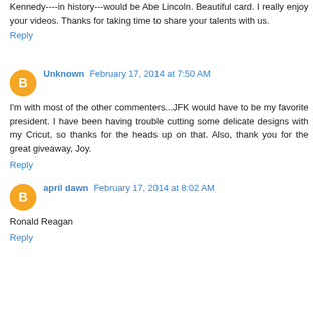Kennedy----in history---would be Abe Lincoln. Beautiful card. I really enjoy your videos. Thanks for taking time to share your talents with us.
Reply
Unknown February 17, 2014 at 7:50 AM
I'm with most of the other commenters...JFK would have to be my favorite president. I have been having trouble cutting some delicate designs with my Cricut, so thanks for the heads up on that. Also, thank you for the great giveaway, Joy.
Reply
april dawn February 17, 2014 at 8:02 AM
Ronald Reagan
Reply